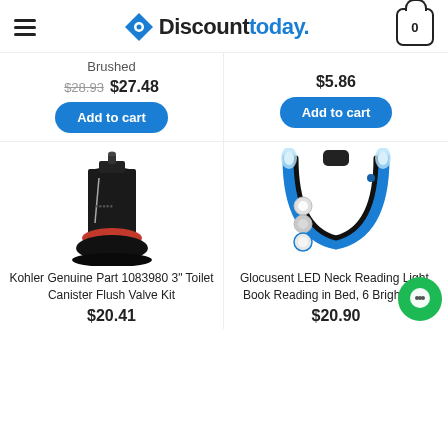Discounttoday.
Brushed
$28.93  $27.48
Add to cart
$5.86
Add to cart
[Figure (photo): Kohler Genuine Part 1083980 3 inch Toilet Canister Flush Valve Kit product photo]
Kohler Genuine Part 1083980 3" Toilet Canister Flush Valve Kit
$20.41
[Figure (photo): Glocusent LED Neck Reading Light for Book Reading in Bed, 6 Brightness levels product photo]
Glocusent LED Neck Reading Light, Book Reading in Bed, 6 Brightness
$20.90